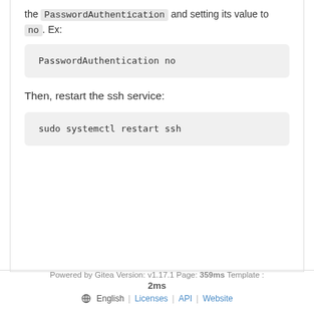the PasswordAuthentication and setting its value to no. Ex:
PasswordAuthentication no
Then, restart the ssh service:
sudo systemctl restart ssh
Powered by Gitea Version: v1.17.1 Page: 359ms Template : 2ms | English | Licenses | API | Website